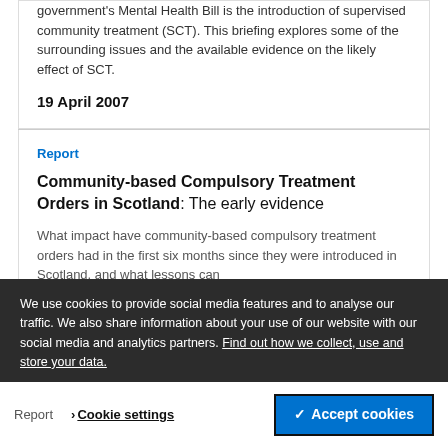government's Mental Health Bill is the introduction of supervised community treatment (SCT). This briefing explores some of the surrounding issues and the available evidence on the likely effect of SCT.
19 April 2007
Report
Community-based Compulsory Treatment Orders in Scotland: The early evidence
What impact have community-based compulsory treatment orders had in the first six months since they were introduced in Scotland, and what lessons can England and Wales learn from them?
By Simon Lawton-Smith · 20 November 2006
We use cookies to provide social media features and to analyse our traffic. We also share information about your use of our website with our social media and analytics partners. Find out how we collect, use and store your data.
Report   > Cookie settings   ✓ Accept cookies